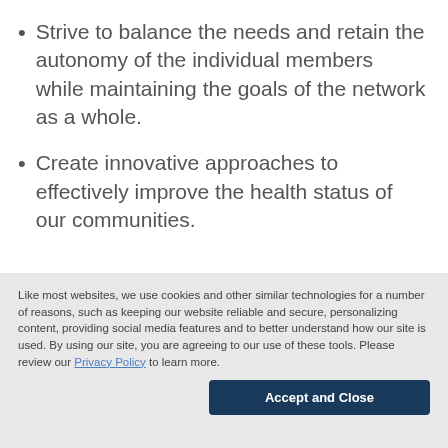Strive to balance the needs and retain the autonomy of the individual members while maintaining the goals of the network as a whole.
Create innovative approaches to effectively improve the health status of our communities.
Like most websites, we use cookies and other similar technologies for a number of reasons, such as keeping our website reliable and secure, personalizing content, providing social media features and to better understand how our site is used. By using our site, you are agreeing to our use of these tools. Please review our Privacy Policy to learn more.